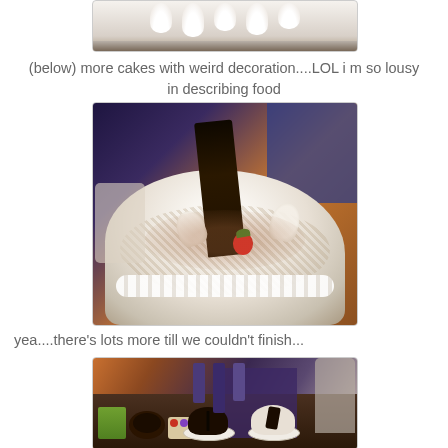[Figure (photo): Top portion of a white cream cake with swirl decorations, partially visible at top of page]
(below) more cakes with weird decoration....LOL i m so lousy in describing food
[Figure (photo): A large round white cream cake with coconut flakes, whipped cream border, strawberry and chocolate decorations on top, with a tall dark chocolate shard rising from the center, set on a buffet table]
yea....there's lots more till we couldn't finish...
[Figure (photo): Wide shot of a dessert buffet table with many cakes, tarts, and pastries displayed on stands and plates, with a person in uniform visible in the background]